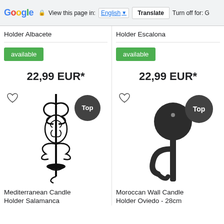Google – View this page in: English [▼] | Translate | Turn off for: G
Holder Albacete
available
22,99 EUR*
[Figure (photo): Black decorative Mediterranean candle holder with ornate scrollwork, labeled Top]
Mediterranean Candle Holder Salamanca
Holder Escalona
available
22,99 EUR*
[Figure (photo): Black Moroccan wall candle holder with circular wall mount, labeled Top]
Moroccan Wall Candle Holder Oviedo - 28cm